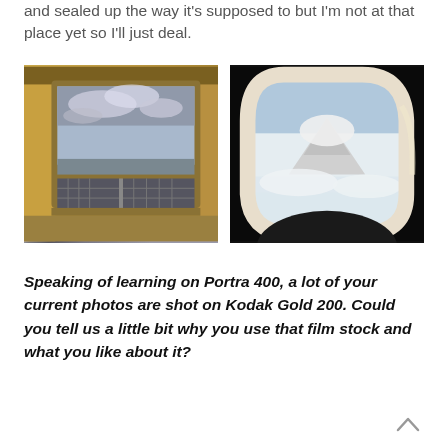and sealed up the way it's supposed to but I'm not at that place yet so I'll just deal.
[Figure (photo): View through a rectangular ship or ferry window looking out at water and cloudy sky, interior frame visible in warm yellowish tones]
[Figure (photo): View through an oval airplane window showing a snow-capped mountain peak and clouds below, dark interior surround]
Speaking of learning on Portra 400, a lot of your current photos are shot on Kodak Gold 200. Could you tell us a little bit why you use that film stock and what you like about it?